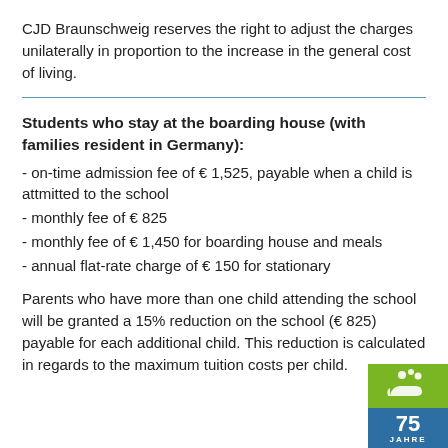CJD Braunschweig reserves the right to adjust the charges unilaterally in proportion to the increase in the general cost of living.
Students who stay at the boarding house (with families resident in Germany):
- on-time admission fee of € 1,525, payable when a child is attmitted to the school
- monthly fee of € 825
- monthly fee of € 1,450 for boarding house and meals
- annual flat-rate charge of € 150 for stationary
Parents who have more than one child attending the school will be granted a 15% reduction on the school (€ 825) payable for each additional child. This reduction is calculated in regards to the maximum tuition costs per child.
[Figure (logo): CJD 75 Jahre anniversary logo with green top section showing hands icon and blue bottom section with '75 JAHRE' text]